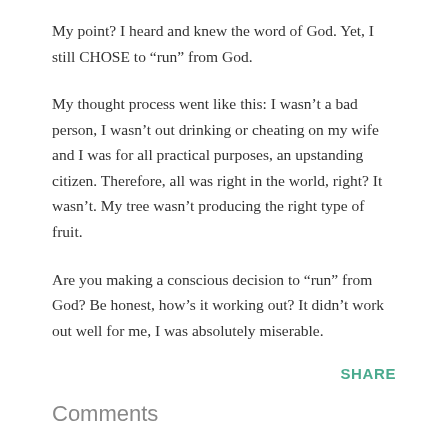My point?  I heard and knew the word of God.  Yet, I still CHOSE to “run” from God.
My thought process went like this:  I wasn’t a bad person, I wasn’t out drinking or cheating on my wife and I was for all practical purposes, an upstanding citizen.  Therefore, all was right in the world, right?  It wasn’t.  My tree wasn’t producing the right type of fruit.
Are you making a conscious decision to “run” from God?  Be honest, how’s it working out?  It didn’t work out well for me, I was absolutely miserable.
SHARE
Comments